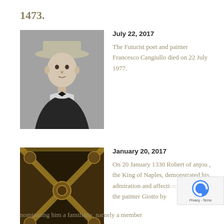1473.
[Figure (photo): Black and white portrait photo of a young man wearing a hat and bow tie]
July 22, 2017
The Futurist poet and painter Francesco Cangiullo died on 22 July 1977.
[Figure (photo): Ornate ceiling fresco with diagonal geometric patterns and golden decorative elements]
January 20, 2017
On 20 January 1330 Robert of anjou , the King of Naples, demonstrated his admiration and affection for the painter Giotto by nominating him a familiaris, namely a member